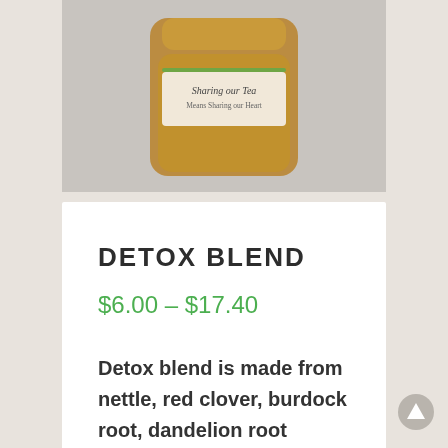[Figure (photo): A glass jar with a label reading 'Sharing our Tea' and 'Means Sharing our Heart', partially visible at the top of a product listing page.]
DETOX BLEND
$6.00 – $17.40
Detox blend is made from nettle, red clover, burdock root, dandelion root roasted, calendula, St Marys